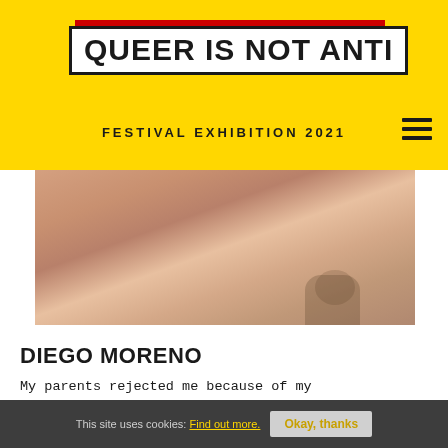QUEER IS NOT ANTI — FESTIVAL EXHIBITION 2021
[Figure (photo): Close-up photograph of a person's bare torso, with a hand/arm visible and a tattoo on the right side]
DIEGO MORENO
My parents rejected me because of my homosexuality. I could escape from the violent relationships of their home and grew up with my maternal grandmother Clemencia. My grandmother knew how to raise me through fantasy and her unconditional love, despite
This site uses cookies: Find out more.   Okay, thanks